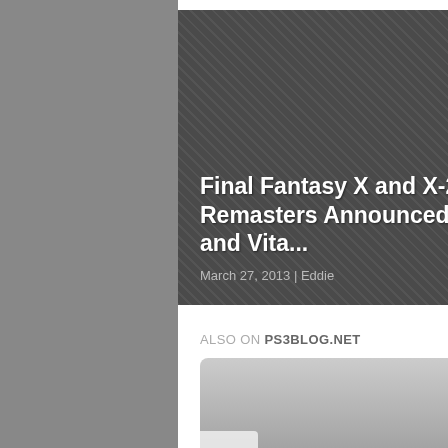Final Fantasy X and X-2 Remasters Announced for PS3 and Vita...
March 27, 2013 | Eddie
ALSO ON PS3BLOG.NET
[Figure (screenshot): Card thumbnail with navigation left arrow, showing '[Nintendo Switch] Super Squidlit Review' post, 4 years ago, 1 comment]
[Figure (screenshot): Card thumbnail with navigation right arrow, showing 'Limited... God o... Pro Bu...' post, 4 years ago]